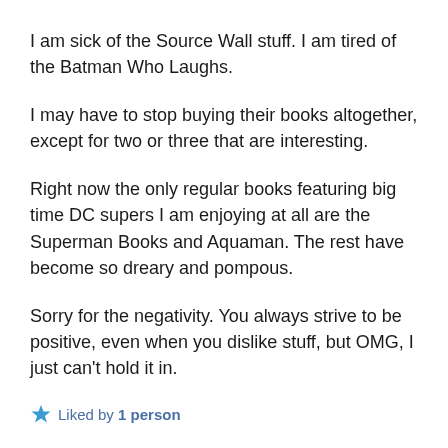I am sick of the Source Wall stuff. I am tired of the Batman Who Laughs.
I may have to stop buying their books altogether, except for two or three that are interesting.
Right now the only regular books featuring big time DC supers I am enjoying at all are the Superman Books and Aquaman. The rest have become so dreary and pompous.
Sorry for the negativity. You always strive to be positive, even when you dislike stuff, but OMG, I just can’t hold it in.
Liked by 1 person